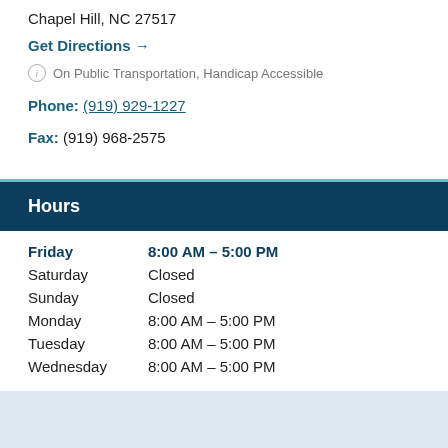Chapel Hill, NC 27517
Get Directions →
ⓘ On Public Transportation, Handicap Accessible
Phone: (919) 929-1227
Fax: (919) 968-2575
Hours
Friday   8:00 AM – 5:00 PM
Saturday   Closed
Sunday   Closed
Monday   8:00 AM – 5:00 PM
Tuesday   8:00 AM – 5:00 PM
Wednesday   8:00 AM – 5:00 PM